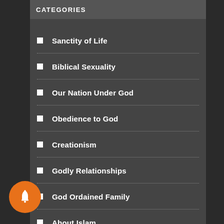CATEGORIES
Sanctity of Life
Biblical Sexuality
Our Nation Under God
Obedience to God
Creationism
Godly Relationships
God Ordained Family
About Islam